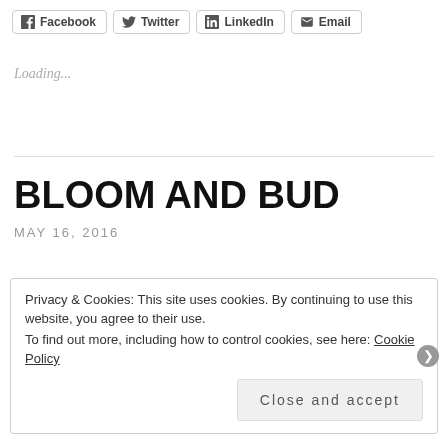[Figure (screenshot): Social share buttons: Facebook, Twitter, LinkedIn, Email]
Loading...
BLOOM AND BUD
MAY 16, 2016
Privacy & Cookies: This site uses cookies. By continuing to use this website, you agree to their use.
To find out more, including how to control cookies, see here: Cookie Policy
Close and accept